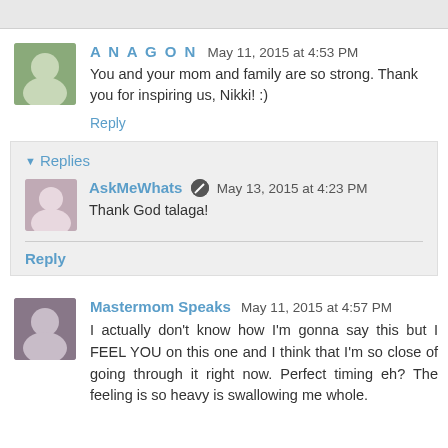A N A G O N  May 11, 2015 at 4:53 PM
You and your mom and family are so strong. Thank you for inspiring us, Nikki! :)
Reply
Replies
AskMeWhats  May 13, 2015 at 4:23 PM
Thank God talaga!
Reply
Mastermom Speaks  May 11, 2015 at 4:57 PM
I actually don't know how I'm gonna say this but I FEEL YOU on this one and I think that I'm so close of going through it right now. Perfect timing eh? The feeling is so heavy is swallowing me whole.